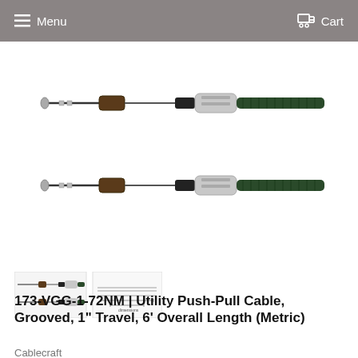Menu   Cart
[Figure (photo): Two identical utility push-pull cables with grooved housing, showing machined metal connectors and dark braided/coiled cable ends. Two views of the same cable assembly.]
[Figure (photo): Thumbnail images: small views of the cable (left) and an engineering schematic/diagram with dimensions (right).]
173-VGG-1-72NM | Utility Push-Pull Cable, Grooved, 1" Travel, 6' Overall Length (Metric)
Cablecraft